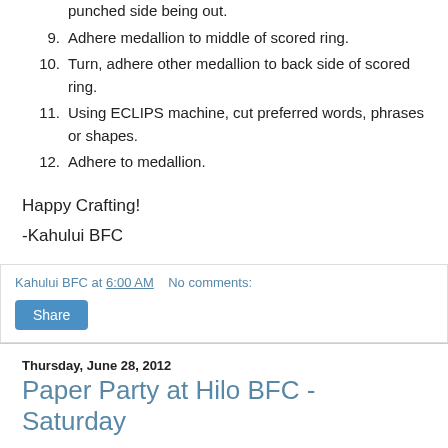punched side being out.
9. Adhere medallion to middle of scored ring.
10. Turn, adhere other medallion to back side of scored ring.
11. Using ECLIPS machine, cut preferred words, phrases or shapes.
12. Adhere to medallion.
Happy Crafting!
-Kahului BFC
Kahului BFC at 6:00 AM   No comments:
Share
Thursday, June 28, 2012
Paper Party at Hilo BFC - Saturday